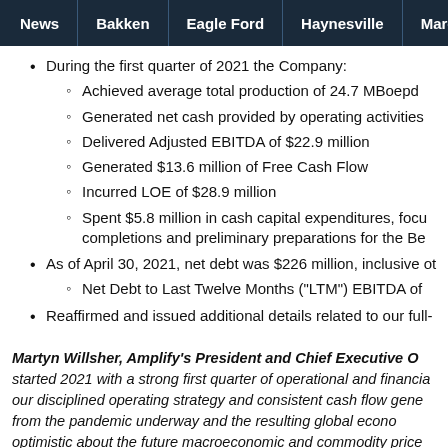News | Bakken | Eagle Ford | Haynesville | Marcellus
During the first quarter of 2021 the Company:
Achieved average total production of 24.7 MBoepd
Generated net cash provided by operating activities
Delivered Adjusted EBITDA of $22.9 million
Generated $13.6 million of Free Cash Flow
Incurred LOE of $28.9 million
Spent $5.8 million in cash capital expenditures, focused on completions and preliminary preparations for the Be...
As of April 30, 2021, net debt was $226 million, inclusive of...
Net Debt to Last Twelve Months ("LTM") EBITDA of...
Reaffirmed and issued additional details related to our full-...
Martyn Willsher, Amplify's President and Chief Executive O... started 2021 with a strong first quarter of operational and financial... our disciplined operating strategy and consistent cash flow gene... from the pandemic underway and the resulting global econo... optimistic about the future macroeconomic and commodity price...